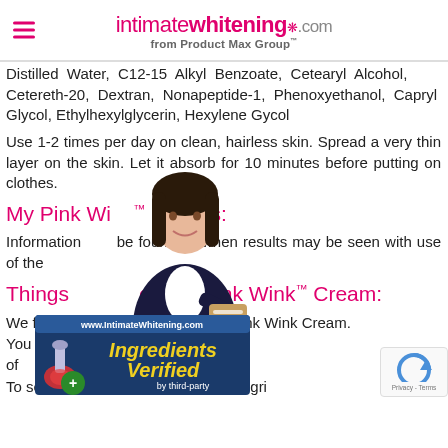intimatewhitening.com from Product Max Group™
Distilled Water, C12-15 Alkyl Benzoate, Cetearyl Alcohol, Cetereth-20, Dextran, Nonapeptide-1, Phenoxyethanol, Capryl Glycol, Ethylhexylglycerin, Hexylene Gycol
Use 1-2 times per day on clean, hairless skin. Spread a very thin layer on the skin. Let it absorb for 10 minutes before putting on clothes.
My Pink Wink™ Results:
Information can be found as when results may be seen with use of the
Things on My Pink Wink™ Cream:
We found the price of My Pink Wink Cream. You can find options that are more affordable of which can save you additional. To see options, check out the grid.
[Figure (photo): Woman in business attire holding a clipboard, overlaid on the page content]
[Figure (logo): Ingredients Verified by third-party badge from www.IntimateWhitening.com]
[Figure (other): reCAPTCHA badge with Privacy - Terms text]